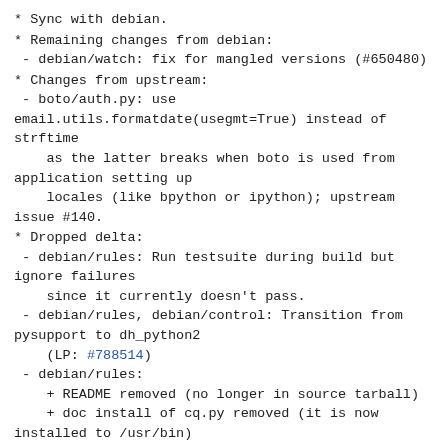* Sync with debian.
* Remaining changes from debian:
  - debian/watch: fix for mangled versions (#650480)
* Changes from upstream:
  - boto/auth.py: use email.utils.formatdate(usegmt=True) instead of strftime
    as the latter breaks when boto is used from application setting up
    locales (like bpython or ipython); upstream issue #140.
* Dropped delta:
  - debian/rules: Run testsuite during build but ignore failures
    since it currently doesn't pass.
  - debian/rules, debian/control: Transition from pysupport to dh_python2
    (LP: #788514)
  - debian/rules:
    + README removed (no longer in source tarball)
    + doc install of cq.py removed (it is now installed to /usr/bin)
* Promote new upstream to unstable (Closes: #638931).
* New upstream release.
* Convert packaging to dh_python2 (Closes: